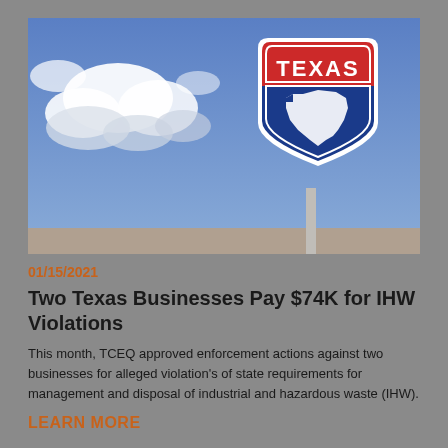[Figure (photo): Texas interstate highway sign with state outline against a blue sky with clouds]
01/15/2021
Two Texas Businesses Pay $74K for IHW Violations
This month, TCEQ approved enforcement actions against two businesses for alleged violation's of state requirements for management and disposal of industrial and hazardous waste (IHW).
LEARN MORE